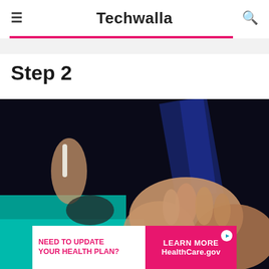Techwalla
Step 2
[Figure (photo): A blurred close-up photo showing hands, possibly interacting with objects on a table, with a dark background and blue lighting effects. A person appears to be writing or handling something.]
[Figure (infographic): Advertisement banner: NEED TO UPDATE YOUR HEALTH PLAN? LEARN MORE HealthCare.gov]